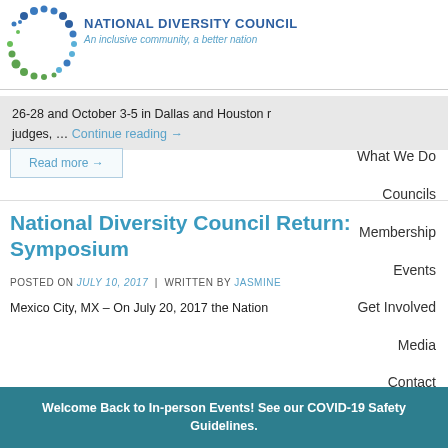[Figure (logo): National Diversity Council logo with circular pattern of blue and green dots and organization name and tagline]
NATIONAL DIVERSITY COUNCIL
An inclusive community, a better nation
26-28 and October 3-5 in Dallas and Houston r
judges, … Continue reading →
Read more →
National Diversity Council Return: Symposium
POSTED ON JULY 10, 2017 | WRITTEN BY JASMINE
Mexico City, MX – On July 20, 2017 the Nation
Welcome Back to In-person Events! See our COVID-19 Safety Guidelines.
About
What We Do
Councils
Membership
Events
Get Involved
Media
Contact